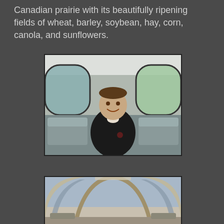Canadian prairie with its beautifully ripening fields of wheat, barley, soybean, hay, corn, canola, and sunflowers.
[Figure (photo): A smiling middle-aged man sitting in a train car with large windows, wearing a dark jacket, with train seats visible around him and greenery outside the windows.]
[Figure (photo): Interior view of a train observation/dome car showing large curved panoramic windows with sky and landscape visible through them.]